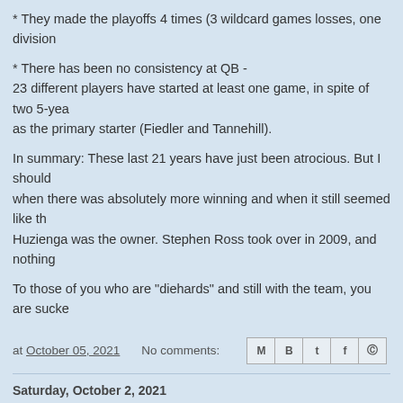* They made the playoffs 4 times (3 wildcard games losses, one division...
* There has been no consistency at QB - 23 different players have started at least one game, in spite of two 5-year... as the primary starter (Fiedler and Tannehill).
In summary: These last 21 years have just been atrocious. But I should... when there was absolutely more winning and when it still seemed like th... Huzienga was the owner. Stephen Ross took over in 2009, and nothing...
To those of you who are "diehards" and still with the team, you are sucke...
at October 05, 2021   No comments:
Saturday, October 2, 2021
That’s quite the headline.
Stephanie Grisham describes the Trump White House as '... s'